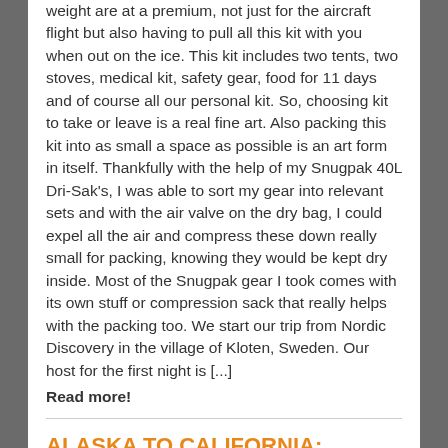weight are at a premium, not just for the aircraft flight but also having to pull all this kit with you when out on the ice. This kit includes two tents, two stoves, medical kit, safety gear, food for 11 days and of course all our personal kit. So, choosing kit to take or leave is a real fine art. Also packing this kit into as small a space as possible is an art form in itself. Thankfully with the help of my Snugpak 40L Dri-Sak's, I was able to sort my gear into relevant sets and with the air valve on the dry bag, I could expel all the air and compress these down really small for packing, knowing they would be kept dry inside. Most of the Snugpak gear I took comes with its own stuff or compression sack that really helps with the packing too. We start our trip from Nordic Discovery in the village of Kloten, Sweden. Our host for the first night is [...]
Read more!
ALASKA TO CALIFORNIA: ADVENTURE WITH ED GOLD & SNUGPAK
by Snugpak  :  January 21, 2019  :  in Brand Ambassadors,